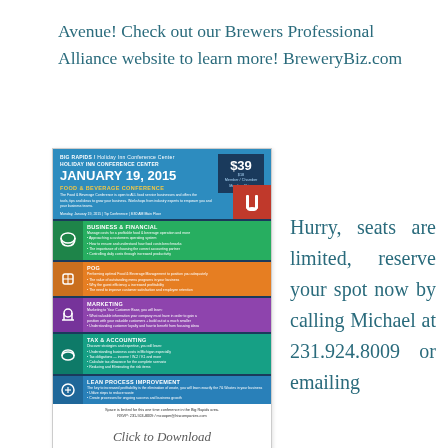Avenue! Check out our Brewers Professional Alliance website to learn more! BreweryBiz.com
[Figure (infographic): Food & Beverage Conference flyer for January 19, 2015 at Big Rapids / Holiday Inn Conference Center, showing sections for Business & Financial, POG, Marketing, Tax & Accounting, and Lean Process Improvement. Price $39 / $18 member.]
Click to Download
Hurry, seats are limited, reserve your spot now by calling Michael at 231.924.8009 or emailing